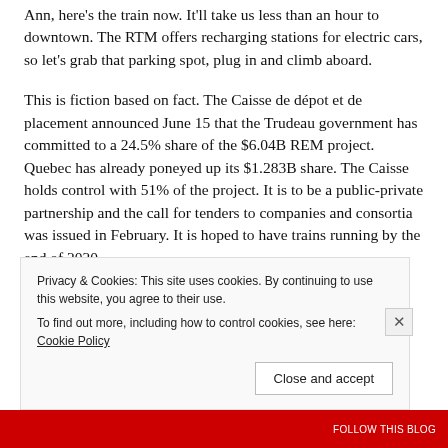Ann, here's the train now. It'll take us less than an hour to downtown. The RTM offers recharging stations for electric cars, so let's grab that parking spot, plug in and climb aboard.
This is fiction based on fact. The Caisse de dépot et de placement announced June 15 that the Trudeau government has committed to a 24.5% share of the $6.04B REM project. Quebec has already poneyed up its $1.283B share. The Caisse holds control with 51% of the project. It is to be a public-private partnership and the call for tenders to companies and consortia was issued in February. It is hoped to have trains running by the end of 2020.
Privacy & Cookies: This site uses cookies. By continuing to use this website, you agree to their use.
To find out more, including how to control cookies, see here: Cookie Policy